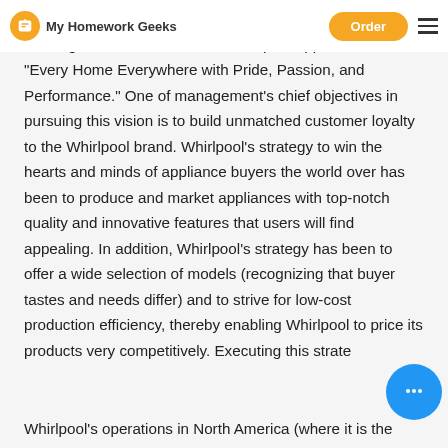My Homework Geeks | Order
centres around the world and sales in some 170 countries totalling $19 billion in 201... of Whirlpool appliances in "Every Home Everywhere with Pride, Passion, and Performance." One of management's chief objectives in pursuing this vision is to build unmatched customer loyalty to the Whirlpool brand. Whirlpool's strategy to win the hearts and minds of appliance buyers the world over has been to produce and market appliances with top-notch quality and innovative features that users will find appealing. In addition, Whirlpool's strategy has been to offer a wide selection of models (recognizing that buyer tastes and needs differ) and to strive for low-cost production efficiency, thereby enabling Whirlpool to price its products very competitively. Executing this strate...
Whirlpool's operations in North America (where it is the...